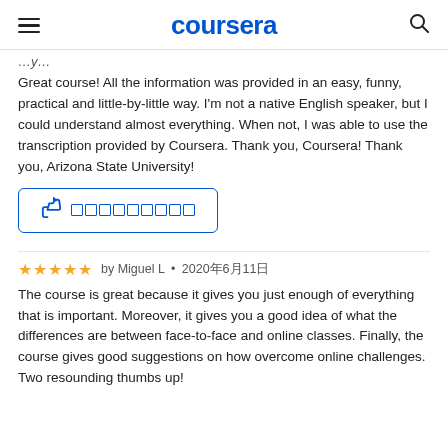coursera
Great course! All the information was provided in an easy, funny, practical and little-by-little way. I'm not a native English speaker, but I could understand almost everything. When not, I was able to use the transcription provided by Coursera. Thank you, Coursera! Thank you, Arizona State University!
[Figure (other): Helpful button with thumbs up icon and square placeholder characters in blue]
by Miguel L • 2020年6月11日
The course is great because it gives you just enough of everything that is important. Moreover, it gives you a good idea of what the differences are between face-to-face and online classes. Finally, the course gives good suggestions on how overcome online challenges. Two resounding thumbs up!